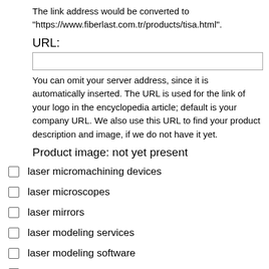The link address would be converted to "https://www.fiberlast.com.tr/products/tisa.html".
URL:
You can omit your server address, since it is automatically inserted. The URL is used for the link of your logo in the encyclopedia article; default is your company URL. We also use this URL to find your product description and image, if we do not have it yet.
Product image: not yet present
laser micromachining devices
laser microscopes
laser mirrors
laser modeling services
laser modeling software
laser noise measurement equipment